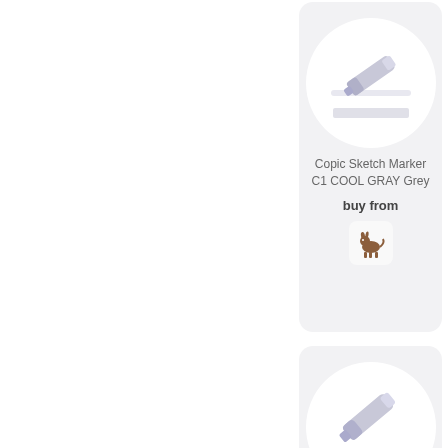[Figure (photo): Product card showing Copic Sketch Marker C1 COOL GRAY Grey with marker image on white circle background, 'buy from' text, and retailer icon (donkey/burro logo)]
Copic Sketch Marker C1 COOL GRAY Grey
buy from
[Figure (photo): Product card showing Copic Sketch Marker C7 COOL (partially visible) with marker image and dark gray color swatch]
Copic Sketch Marker C7 COOL G...
buy
[Figure (photo): Product card showing Copic Sketch Marker RV23 PURE PINK with marker image on white circle and pink color swatch]
Copic Sketch Marker RV23 PURE PINK
[Figure (photo): Product card showing Copic Sketch Marker V15 MALLOW (partially visible) with marker image and lavender color swatch]
Copic Sketch Marker V15 MALL...